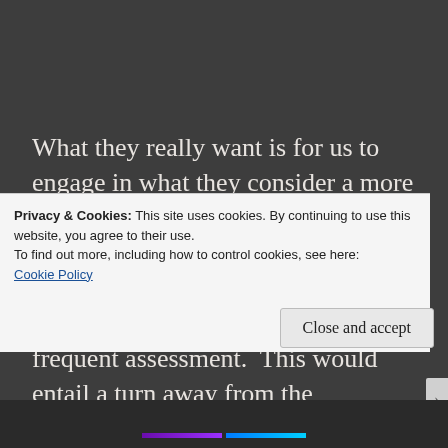What they really want is for us to engage in what they consider a more direct ethic of education, to produce reasoners rather than credentials.  They turn explicitly to the tradition of John Dewey in stressing rigour and frequent assessment.  This would entail a turn away from the collaborative learning models
Privacy & Cookies: This site uses cookies. By continuing to use this website, you agree to their use.
To find out more, including how to control cookies, see here:
Cookie Policy
Close and accept